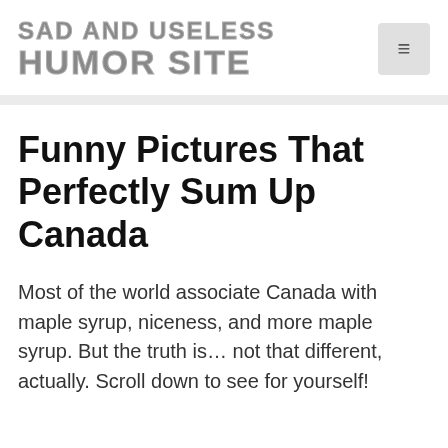SAD AND USELESS HUMOR SITE
Funny Pictures That Perfectly Sum Up Canada
Most of the world associate Canada with maple syrup, niceness, and more maple syrup. But the truth is… not that different, actually. Scroll down to see for yourself!